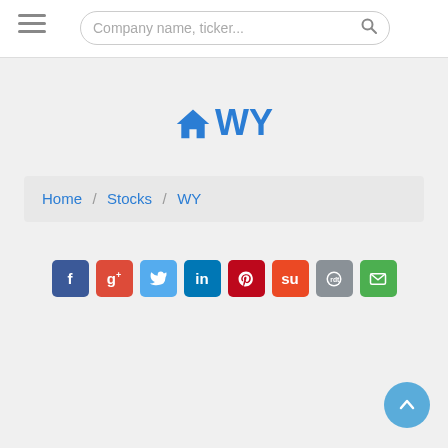Company name, ticker...
WY
Home / Stocks / WY
[Figure (other): Social sharing buttons: Facebook, Google+, Twitter, LinkedIn, Pinterest, StumbleUpon, Reddit, Email]